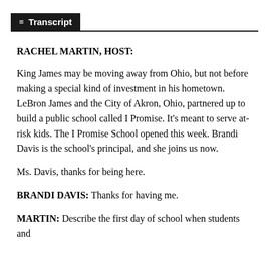Transcript
RACHEL MARTIN, HOST:
King James may be moving away from Ohio, but not before making a special kind of investment in his hometown. LeBron James and the City of Akron, Ohio, partnered up to build a public school called I Promise. It's meant to serve at-risk kids. The I Promise School opened this week. Brandi Davis is the school's principal, and she joins us now.
Ms. Davis, thanks for being here.
BRANDI DAVIS: Thanks for having me.
MARTIN: Describe the first day of school when students and